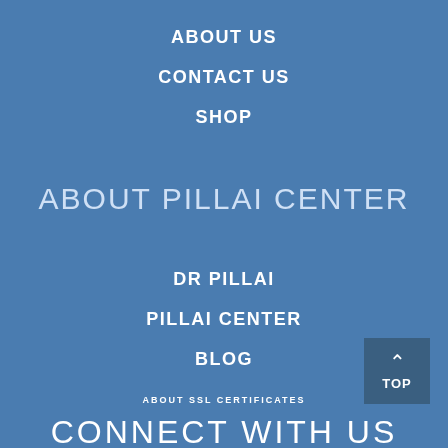ABOUT US
CONTACT US
SHOP
ABOUT PILLAI CENTER
DR PILLAI
PILLAI CENTER
BLOG
[Figure (other): TOP button with upward arrow]
ABOUT SSL CERTIFICATES
CONNECT WITH US